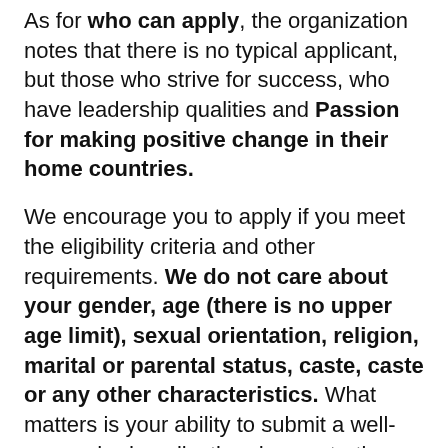As for who can apply, the organization notes that there is no typical applicant, but those who strive for success, who have leadership qualities and Passion for making positive change in their home countries.
We encourage you to apply if you meet the eligibility criteria and other requirements. We do not care about your gender, age (there is no upper age limit), sexual orientation, religion, marital or parental status, caste, caste or any other characteristics. What matters is your ability to submit a well-researched application demonstrating that you are able to excel on an intensive UK Masters course and that you have a clear vision for your future,” the website states.